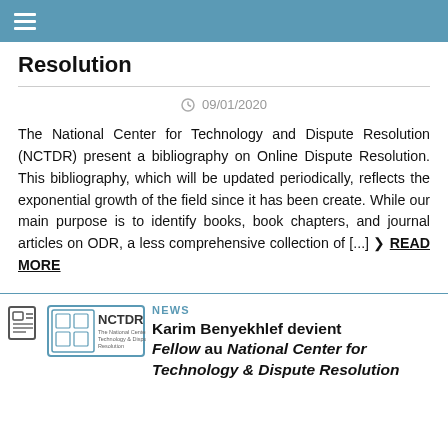Resolution
09/01/2020
The National Center for Technology and Dispute Resolution (NCTDR) present a bibliography on Online Dispute Resolution. This bibliography, which will be updated periodically, reflects the exponential growth of the field since it has been create. While our main purpose is to identify books, book chapters, and journal articles on ODR, a less comprehensive collection of [...] > READ MORE
[Figure (logo): NCTDR logo with text 'The National Center for Technology & Dispute Resolution']
NEWS
Karim Benyekhlef devient Fellow au National Center for Technology & Dispute Resolution